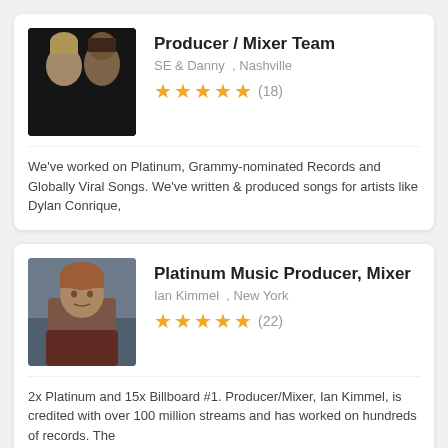[Figure (photo): Two people photo, dark background]
Producer / Mixer Team
SE & Danny , Nashville
★★★★★ (18)
We've worked on Platinum, Grammy-nominated Records and Globally Viral Songs. We've written & produced songs for artists like Dylan Conrique,
[Figure (photo): Man with reddish-brown hair, industrial background]
Platinum Music Producer, Mixer
Ian Kimmel , New York
★★★★★ (22)
2x Platinum and 15x Billboard #1. Producer/Mixer, Ian Kimmel, is credited with over 100 million streams and has worked on hundreds of records. The
Songwriter Vocal Expert
Angelo Iossa , Naples